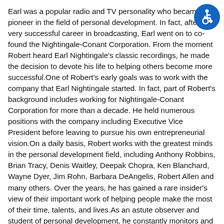[Figure (illustration): Accessibility icon: white wheelchair user symbol on a blue circle background, positioned top-right corner]
Earl was a popular radio and TV personality who became a pioneer in the field of personal development. In fact, after a very successful career in broadcasting, Earl went on to co-found the Nightingale-Conant Corporation. From the moment Robert heard Earl Nightingale's classic recordings, he made the decision to devote his life to helping others become more successful.One of Robert's early goals was to work with the company that Earl Nightingale started. In fact, part of Robert's background includes working for Nightingale-Conant Corporation for more than a decade. He held numerous positions with the company including Executive Vice President before leaving to pursue his own entrepreneurial vision.On a daily basis, Robert works with the greatest minds in the personal development field, including Anthony Robbins, Brian Tracy, Denis Waitley, Deepak Chopra, Ken Blanchard, Wayne Dyer, Jim Rohn, Barbara DeAngelis, Robert Allen and many others. Over the years, he has gained a rare insider's view of their important work of helping people make the most of their time, talents, and lives.As an astute observer and student of personal development, he constantly monitors and reports on the latest programs and newest ideas that contribute to the advancement of human potential. His engaging style and depth of understanding of the human condition contribute to the growing popularity of his approach to and philosophy of personal achievement and success.Robert Stuberg is the author of many